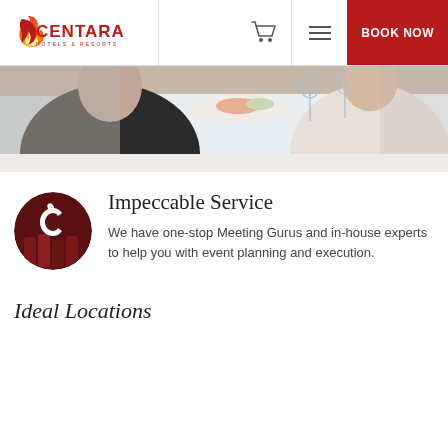[Figure (logo): Centara Hotels & Resorts logo with flame icon in dark red]
[Figure (photo): People dining at a white-tablecloth table with food and glasses, business meeting setting]
Impeccable Service
We have one-stop Meeting Gurus and in-house experts to help you with event planning and execution.
Ideal Locations